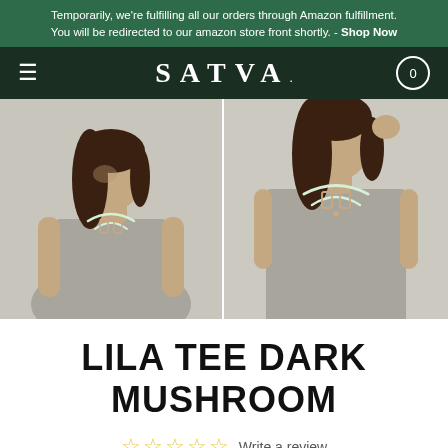Temporarily, we're fulfilling all our orders through Amazon fulfillment. You will be redirected to our amazon store front shortly. - Shop Now
SATVA.
[Figure (photo): Two side-by-side product photos of a female model wearing the Lila Tee Dark Mushroom, a sleeveless gray top with a decorative cutout neckline detail.]
LILA TEE DARK MUSHROOM
☆☆☆☆☆ Write a review